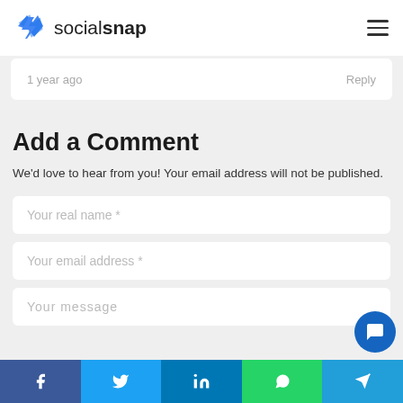socialsnap
1 year ago   Reply
Add a Comment
We'd love to hear from you! Your email address will not be published.
Your real name *
Your email address *
Your message